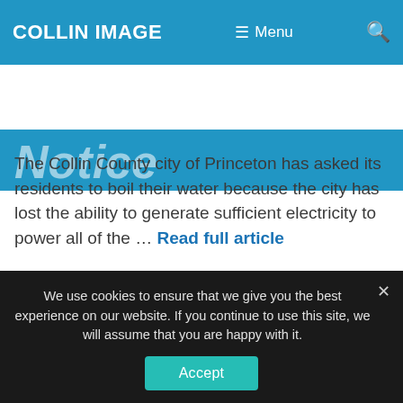COLLIN IMAGE | Menu | Search
Notice
The Collin County city of Princeton has asked its residents to boil their water because the city has lost the ability to generate sufficient electricity to power all of the ... Read full article
Collin County News, Princeton-TX
We use cookies to ensure that we give you the best experience on our website. If you continue to use this site, we will assume that you are happy with it.